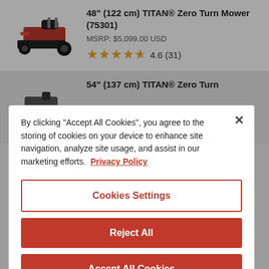[Figure (photo): Red and black Toro TITAN Zero Turn Mower product photo]
48" (122 cm) TITAN® Zero Turn Mower (75301)
MSRP: $5,099.00 USD
4.6 (31)
[Figure (photo): Partial view of another Toro mower product]
54" (137 cm) TITAN® Zero Turn
By clicking "Accept All Cookies", you agree to the storing of cookies on your device to enhance site navigation, analyze site usage, and assist in our marketing efforts.  Privacy Policy
Cookies Settings
Reject All
Accept All Cookies